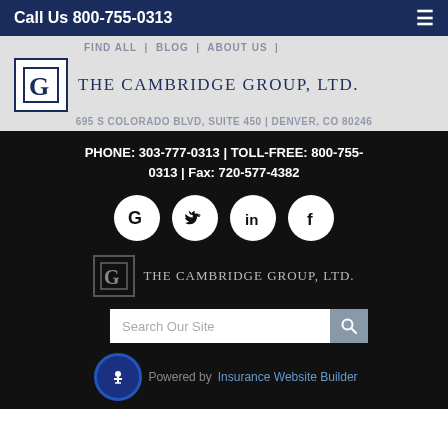Call Us 800-755-0313
[Figure (logo): The Cambridge Group, Ltd. logo with stylized G in a square border]
695 S COLORADO BLVD, SUITE 450 | DENVER, CO 80246
PHONE: 303-777-0313 | TOLL-FREE: 800-755-0313 | Fax: 720-577-4382
[Figure (other): Social media icons: Google, Twitter, LinkedIn, Facebook]
[Figure (logo): The Cambridge Group, Ltd. footer logo]
Search Our Site
Powered by Insurance Website Builder